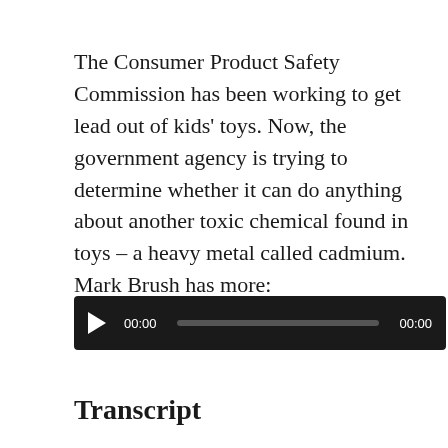The Consumer Product Safety Commission has been working to get lead out of kids' toys. Now, the government agency is trying to determine whether it can do anything about another toxic chemical found in toys – a heavy metal called cadmium. Mark Brush has more:
[Figure (other): Audio player with play button, 00:00 timestamp, progress bar, and 00:00 end timestamp on dark background]
Transcript